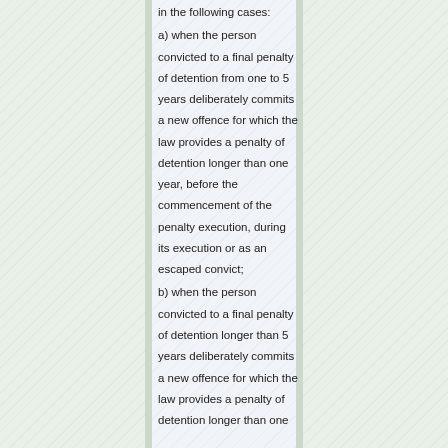Article ... (2) There is relapse in the following cases:
a) when the person convicted to a final penalty of detention from one to 5 years deliberately commits a new offence for which the law provides a penalty of detention longer than one year, before the commencement of the penalty execution, during its execution or as an escaped convict;
b) when the person convicted to a final penalty of detention longer than 5 years deliberately commits a new offence for which the law provides a penalty of detention longer than one